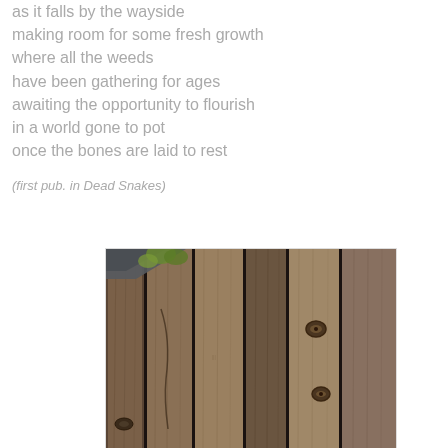as it falls by the wayside
making room for some fresh growth
where all the weeds
have been gathering for ages
awaiting the opportunity to flourish
in a world gone to pot
once the bones are laid to rest
(first pub. in Dead Snakes)
[Figure (photo): Close-up photograph of weathered wooden fence planks, brown and grey-toned, with visible knots and grain texture. A glimpse of a roofline and green foliage visible at the top left corner.]